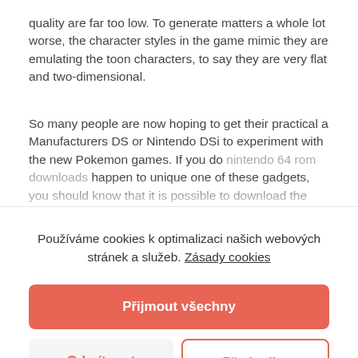quality are far too low. To generate matters a whole lot worse, the character styles in the game mimic they are emulating the toon characters, to say they are very flat and two-dimensional.
So many people are now hoping to get their practical a Manufacturers DS or Nintendo DSi to experiment with the new Pokemon games. If you do nintendo 64 rom downloads happen to unique one of these gadgets, you should know that it is possible to download the
Používáme cookies k optimalizaci našich webových stránek a služeb. Zásady cookies
Přijmout všechny
Odmítnout
Předvolby